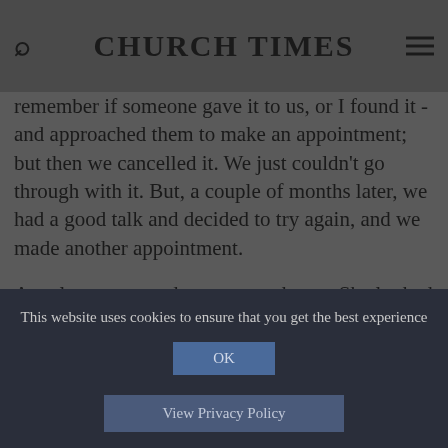CHURCH TIMES
remember if someone gave it to us, or I found it - and approached them to make an appointment; but then we cancelled it. We just couldn't go through with it. But, a couple of months later, we had a good talk and decided to try again, and we made another appointment.
Angela came round to see us at home. She looked at all the paperwork, and said we needed to give back the car, which was on HP. Angela asked us if she could pray, and my husband said: "No way. You are not praying in my house."
This website uses cookies to ensure that you get the best experience
OK
View Privacy Policy